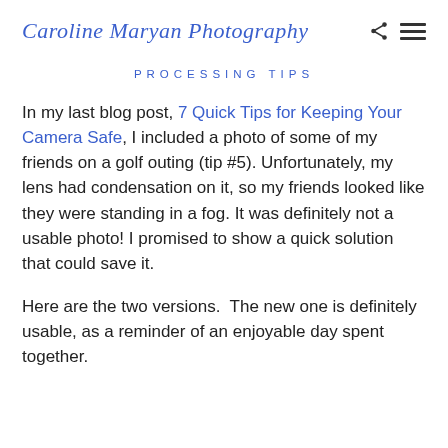Caroline Maryan Photography
PROCESSING TIPS
In my last blog post, 7 Quick Tips for Keeping Your Camera Safe, I included a photo of some of my friends on a golf outing (tip #5). Unfortunately, my lens had condensation on it, so my friends looked like they were standing in a fog. It was definitely not a usable photo! I promised to show a quick solution that could save it.
Here are the two versions.  The new one is definitely usable, as a reminder of an enjoyable day spent together.